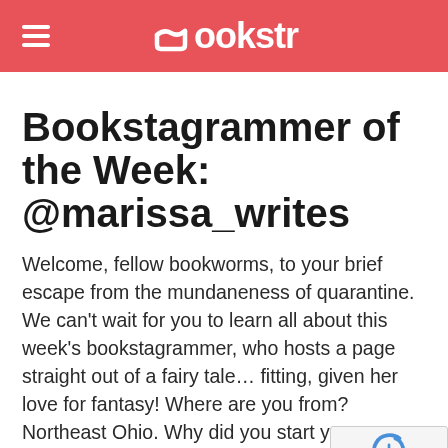Bookstr
Bookstagrammer of the Week: @marissa_writes
Welcome, fellow bookworms, to your brief escape from the mundaneness of quarantine. We can't wait for you to learn all about this week's bookstagrammer, who hosts a page straight out of a fairy tale... fitting, given her love for fantasy! Where are you from? Northeast Ohio. Why did you start your Bookstagram? It's a long story... basically I